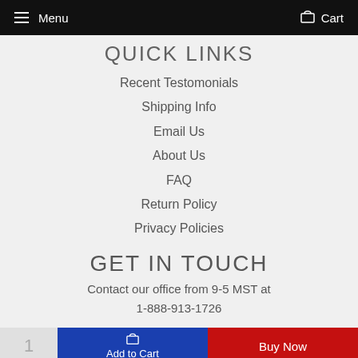Menu   Cart
QUICK LINKS
Recent Testomonials
Shipping Info
Email Us
About Us
FAQ
Return Policy
Privacy Policies
GET IN TOUCH
Contact our office from 9-5 MST at 1-888-913-1726
1   Add to Cart   Buy Now